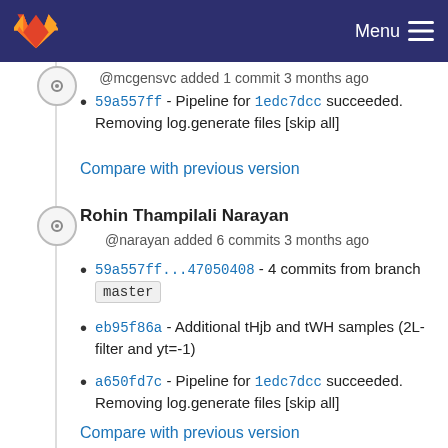GitLab Menu
@mcgensvc added 1 commit 3 months ago
59a557ff - Pipeline for 1edc7dcc succeeded. Removing log.generate files [skip all]
Compare with previous version
Rohin Thampilali Narayan
@narayan added 6 commits 3 months ago
59a557ff...47050408 - 4 commits from branch master
eb95f86a - Additional tHjb and tWH samples (2L-filter and yt=-1)
a650fd7c - Pipeline for 1edc7dcc succeeded. Removing log.generate files [skip all]
Compare with previous version
Rohin Thampilali Narayan
@narayan added 3 commits 3 months ago